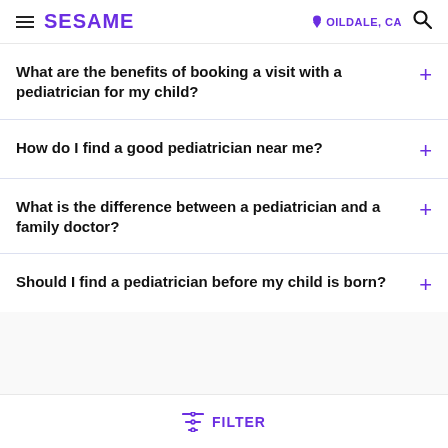SESAME | OILDALE, CA
What are the benefits of booking a visit with a pediatrician for my child?
How do I find a good pediatrician near me?
What is the difference between a pediatrician and a family doctor?
Should I find a pediatrician before my child is born?
FILTER